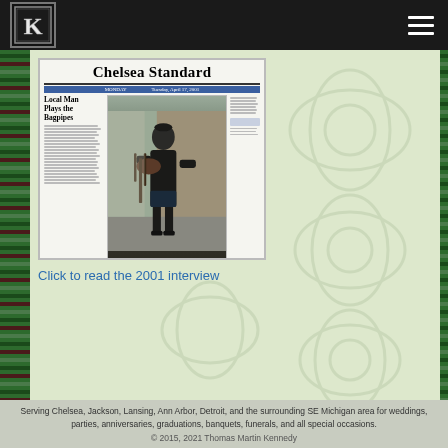[Figure (photo): Newspaper front page of Chelsea Standard showing headline 'Local Man Plays the Bagpipes' with a photo of a person in black playing bagpipes on a street]
Click to read the 2001 interview
Serving Chelsea, Jackson, Lansing, Ann Arbor, Detroit, and the surrounding SE Michigan area for weddings, parties, anniversaries, graduations, banquets, funerals, and all special occasions.
© 2015, 2021 Thomas Martin Kennedy